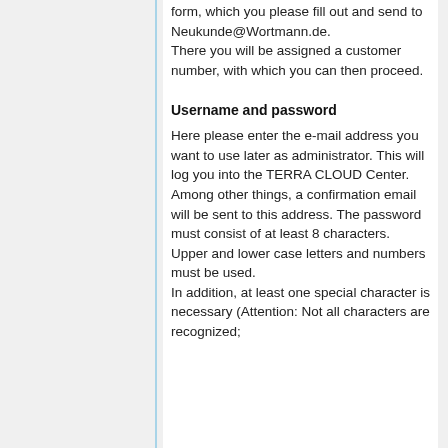form, which you please fill out and send to Neukunde@Wortmann.de. There you will be assigned a customer number, with which you can then proceed.
Username and password
Here please enter the e-mail address you want to use later as administrator. This will log you into the TERRA CLOUD Center. Among other things, a confirmation email will be sent to this address. The password must consist of at least 8 characters. Upper and lower case letters and numbers must be used. In addition, at least one special character is necessary (Attention: Not all characters are recognized;